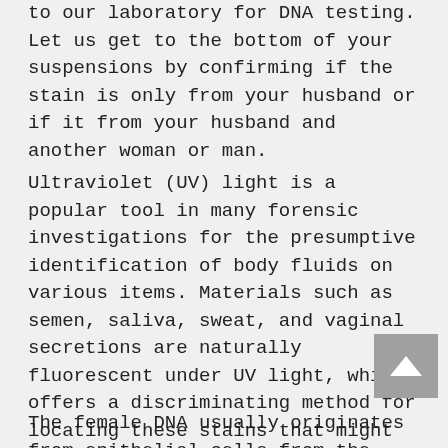to our laboratory for DNA testing. Let us get to the bottom of your suspensions by confirming if the stain is only from your husband or if it from your husband and another woman or man.
Ultraviolet (UV) light is a popular tool in many forensic investigations for the presumptive identification of body fluids on various items. Materials such as semen, saliva, sweat, and vaginal secretions are naturally fluorescent under UV light, which offers a discriminating method for locating these stains that might otherwise be invisible to the naked eye. Biological stains resulting from sexual activity often contain a mixture of both male and female DNA.
The female DNA usually originates from epithelial cells from the